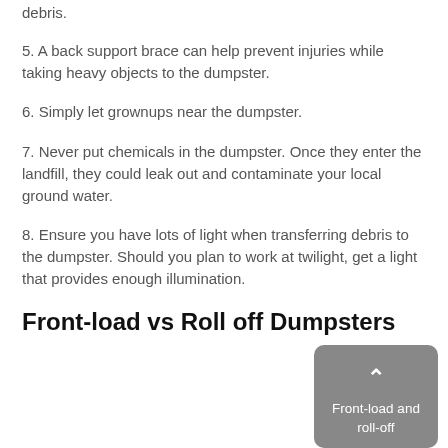debris.
5. A back support brace can help prevent injuries while taking heavy objects to the dumpster.
6. Simply let grownups near the dumpster.
7. Never put chemicals in the dumpster. Once they enter the landfill, they could leak out and contaminate your local ground water.
8. Ensure you have lots of light when transferring debris to the dumpster. Should you plan to work at twilight, get a light that provides enough illumination.
Front-load vs Roll off Dumpsters
Front-load and roll-off